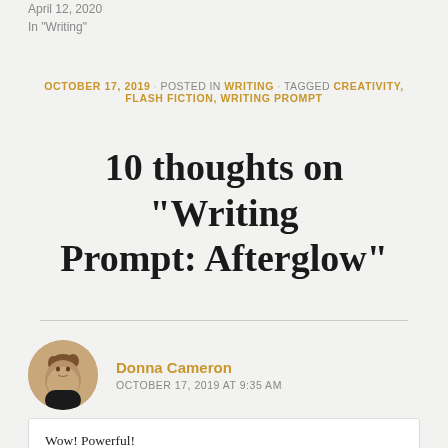April 12, 2020
In "Writing"
OCTOBER 17, 2019 · POSTED IN WRITING · TAGGED CREATIVITY, FLASH FICTION, WRITING PROMPT
10 thoughts on “Writing Prompt: Afterglow”
Donna Cameron
OCTOBER 17, 2019 AT 9:35 AM
Wow! Powerful!